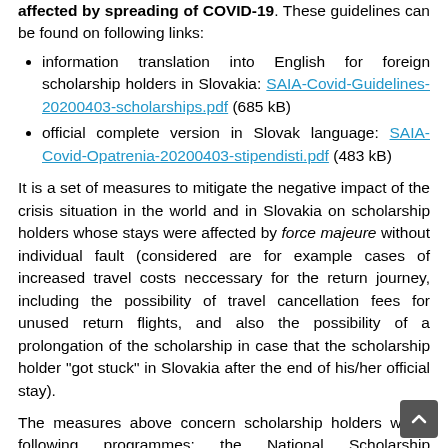affected by spreading of COVID-19. These guidelines can be found on following links:
information translation into English for foreign scholarship holders in Slovakia: SAIA-Covid-Guidelines-20200403-scholarships.pdf (685 kB)
official complete version in Slovak language: SAIA-Covid-Opatrenia-20200403-stipendisti.pdf (483 kB)
It is a set of measures to mitigate the negative impact of the crisis situation in the world and in Slovakia on scholarship holders whose stays were affected by force majeure without individual fault (considered are for example cases of increased travel costs neccessary for the return journey, including the possibility of travel cancellation fees for unused return flights, and also the possibility of a prolongation of the scholarship in case that the scholarship holder "got stuck" in Slovakia after the end of his/her official stay).
The measures above concern scholarship holders within following programmes: the National Scholarship Programme of